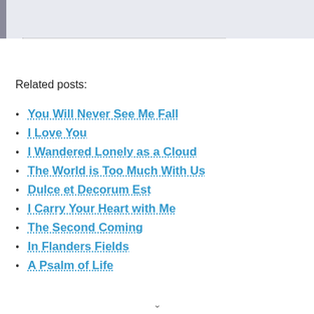[Figure (other): Light blue-gray header/banner area at top of page with a dark gray left border stripe]
Related posts:
You Will Never See Me Fall
I Love You
I Wandered Lonely as a Cloud
The World is Too Much With Us
Dulce et Decorum Est
I Carry Your Heart with Me
The Second Coming
In Flanders Fields
A Psalm of Life